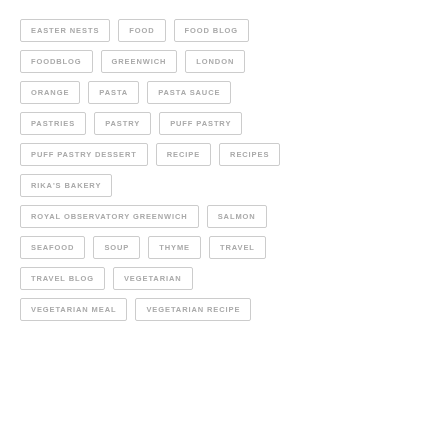EASTER NESTS
FOOD
FOOD BLOG
FOODBLOG
GREENWICH
LONDON
ORANGE
PASTA
PASTA SAUCE
PASTRIES
PASTRY
PUFF PASTRY
PUFF PASTRY DESSERT
RECIPE
RECIPES
RIKA'S BAKERY
ROYAL OBSERVATORY GREENWICH
SALMON
SEAFOOD
SOUP
THYME
TRAVEL
TRAVEL BLOG
VEGETARIAN
VEGETARIAN MEAL
VEGETARIAN RECIPE